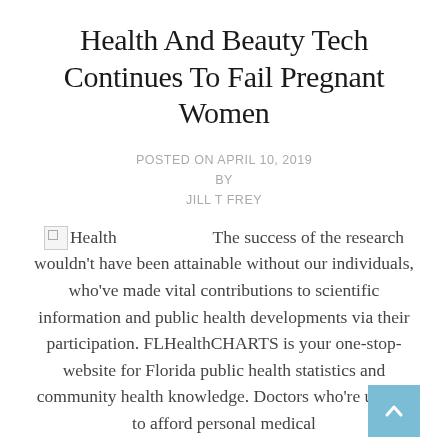Health And Beauty Tech Continues To Fail Pregnant Women
POSTED ON APRIL 10, 2019
BY
JILL T FREY
Health   The success of the research wouldn't have been attainable without our individuals, who've made vital contributions to scientific information and public health developments via their participation. FLHealthCHARTS is your one-stop-website for Florida public health statistics and community health knowledge. Doctors who're unable to afford personal medical